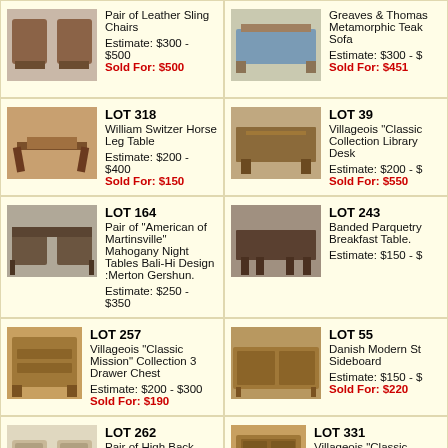Pair of Leather Sling Chairs
Estimate: $300 - $500
Sold For: $500
Greaves & Thomas Metamorphic Teak Sofa
Estimate: $300 - $
Sold For: $451
LOT 318
William Switzer Horse Leg Table
Estimate: $200 - $400
Sold For: $150
LOT 39
Villageois "Classic Collection Library Desk
Estimate: $200 - $
Sold For: $550
LOT 164
Pair of "American of Martinsville" Mahogany Night Tables Bali-Hi Design :Merton Gershun.
Estimate: $250 - $350
LOT 243
Banded Parquetry Breakfast Table.
Estimate: $150 - $
LOT 257
Villageois "Classic Mission" Collection 3 Drawer Chest
Estimate: $200 - $300
Sold For: $190
LOT 55
Danish Modern St Sideboard
Estimate: $150 - $
Sold For: $220
LOT 262
Pair of High Back Armchairs with Silver & Orange
LOT 331
Villageois "Classic Mission" Collection Glass Door